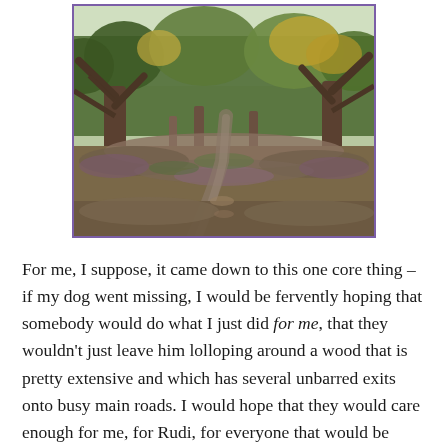[Figure (photo): A woodland path through heathland and trees with autumn foliage, bordered by a purple frame.]
For me, I suppose, it came down to this one core thing – if my dog went missing, I would be fervently hoping that somebody would do what I just did for me, that they wouldn't just leave him lolloping around a wood that is pretty extensive and which has several unbarred exits onto busy main roads. I would hope that they would care enough for me, for Rudi, for everyone that would be affected by his loss to want to help to put that right, even